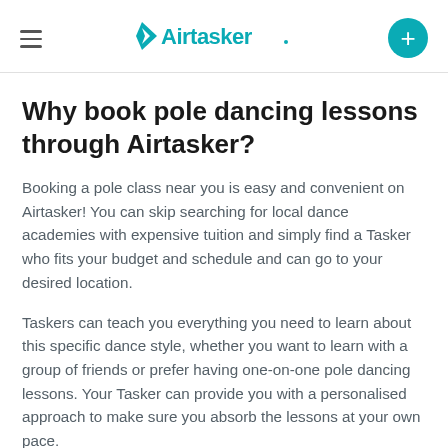Airtasker
Why book pole dancing lessons through Airtasker?
Booking a pole class near you is easy and convenient on Airtasker! You can skip searching for local dance academies with expensive tuition and simply find a Tasker who fits your budget and schedule and can go to your desired location.
Taskers can teach you everything you need to learn about this specific dance style, whether you want to learn with a group of friends or prefer having one-on-one pole dancing lessons. Your Tasker can provide you with a personalised approach to make sure you absorb the lessons at your own pace.